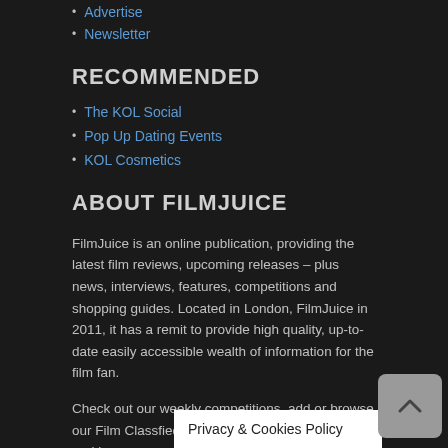Advertise
Newsletter
RECOMMENDED
The KOL Social
Pop Up Dating Events
KOL Cosmetics
ABOUT FILMJUICE
FilmJuice is an online publication, providing the latest film reviews, upcoming releases – plus news, interviews, features, competitions and shopping guides. Located in London, FilmJuice in 2011, it has a remit to provide high quality, up-to-date easily accessible wealth of information for the film fan.
Check out our weekly competitions, add or browse our Film Classfieds or get stuck into our forums and have your say!
Privacy & Cookies Policy